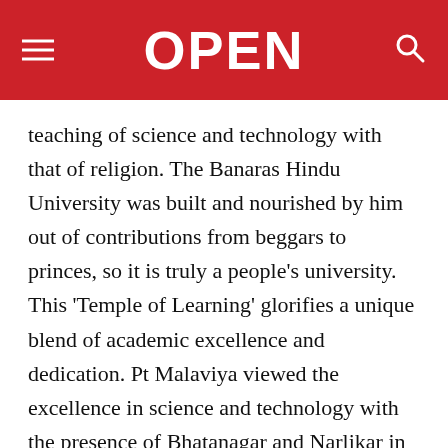OPEN
teaching of science and technology with that of religion. The Banaras Hindu University was built and nourished by him out of contributions from beggars to princes, so it is truly a people's university. This 'Temple of Learning' glorifies a unique blend of academic excellence and dedication. Pt Malaviya viewed the excellence in science and technology with the presence of Bhatanagar and Narlikar in his dream campus. The BHU Kulgeet (alma mater song) was composed by Dr. Shanti Swaroop Bhatnagar, one of the most renowned scientists, who was a Professor in Chemistry at BHU for three years